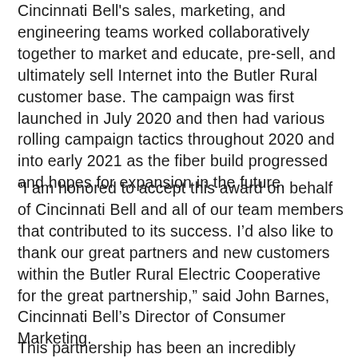Cincinnati Bell's sales, marketing, and engineering teams worked collaboratively together to market and educate, pre-sell, and ultimately sell Internet into the Butler Rural customer base. The campaign was first launched in July 2020 and then had various rolling campaign tactics throughout 2020 and into early 2021 as the fiber build progressed and hopes for expansion in the future.
“I am honored to accept this award on behalf of Cincinnati Bell and all of our team members that contributed to its success. I’d also like to thank our great partners and new customers within the Butler Rural Electric Cooperative for the great partnership,” said John Barnes, Cincinnati Bell’s Director of Consumer Marketing.
This partnership has been an incredibly unique